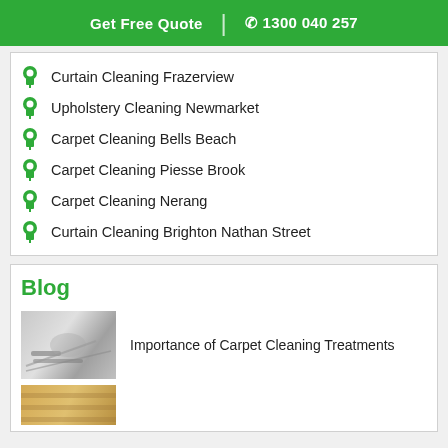Get Free Quote | 1300 040 257
Curtain Cleaning Frazerview
Upholstery Cleaning Newmarket
Carpet Cleaning Bells Beach
Carpet Cleaning Piesse Brook
Carpet Cleaning Nerang
Curtain Cleaning Brighton Nathan Street
Blog
Importance of Carpet Cleaning Treatments